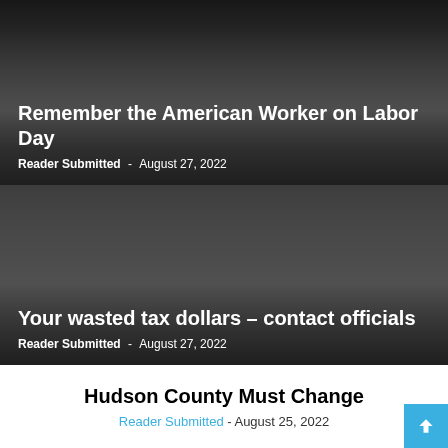Remember the American Worker on Labor Day
Reader Submitted - August 27, 2022
Your wasted tax dollars – contact officials
Reader Submitted - August 27, 2022
Hudson County Must Change
Reader Submitted - August 25, 2022